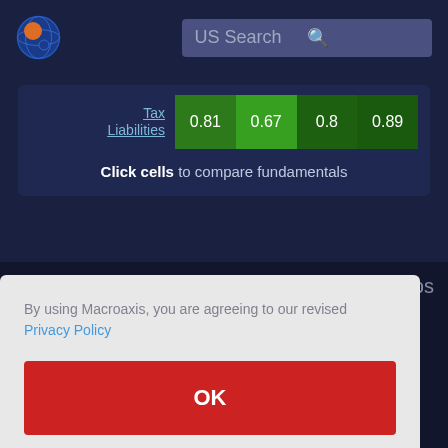[Figure (logo): Macroaxis globe logo with orange and blue circles]
US Search
|  | Col1 | Col2 | Col3 | Col4 |
| --- | --- | --- | --- | --- |
| Tax Liabilities | 0.81 | 0.67 | 0.8 | 0.89 |
Click cells to compare fundamentals
ups
By using Macroaxis, you are agreeing to our revised Privacy Policy
OK